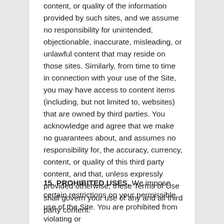content, or quality of the information provided by such sites, and we assume no responsibility for unintended, objectionable, inaccurate, misleading, or unlawful content that may reside on those sites. Similarly, from time to time in connection with your use of the Site, you may have access to content items (including, but not limited to, websites) that are owned by third parties. You acknowledge and agree that we make no guarantees about, and assumes no responsibility for, the accuracy, currency, content, or quality of this third party content, and that, unless expressly provided otherwise, these Terms of Use shall govern your use of any and all third party content.
15. PROHIBITED USES. We impose certain restrictions on your permissible use of the Site. You are prohibited from violating or attempting to violate any security features of